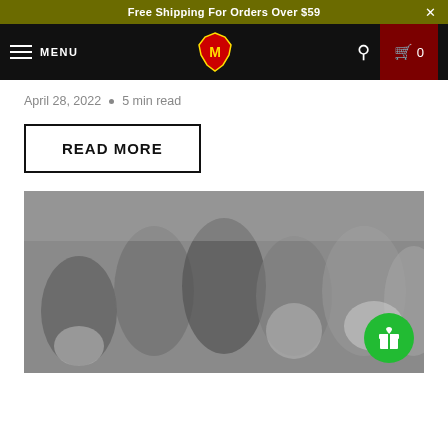Free Shipping For Orders Over $59
MENU
April 28, 2022  •  5 min read
READ MORE
[Figure (photo): Black and white blurred photograph of a group of people]